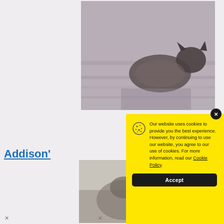[Figure (photo): A cat (tabby/tortoiseshell) on a wooden floor, viewed from above, cropped in upper portion of page background]
Addison'
[Figure (photo): Second cat photo, partially visible at bottom left of background]
[Figure (screenshot): Yellow cookie consent popup modal with cookie icon, text about website cookies policy, Accept button, and close X button]
Our website uses cookies to provide you the best experience. However, by continuing to use our website, you agree to our use of cookies. For more information, read our Cookie Policy.
Accept